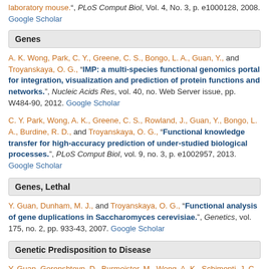laboratory mouse.", PLoS Comput Biol, Vol. 4, No. 3, p. e1000128, 2008. Google Scholar
Genes
A. K. Wong, Park, C. Y., Greene, C. S., Bongo, L. A., Guan, Y., and Troyanskaya, O. G., "IMP: a multi-species functional genomics portal for integration, visualization and prediction of protein functions and networks.", Nucleic Acids Res, vol. 40, no. Web Server issue, pp. W484-90, 2012. Google Scholar
C. Y. Park, Wong, A. K., Greene, C. S., Rowland, J., Guan, Y., Bongo, L. A., Burdine, R. D., and Troyanskaya, O. G., "Functional knowledge transfer for high-accuracy prediction of under-studied biological processes.", PLoS Comput Biol, vol. 9, no. 3, p. e1002957, 2013. Google Scholar
Genes, Lethal
Y. Guan, Dunham, M. J., and Troyanskaya, O. G., "Functional analysis of gene duplications in Saccharomyces cerevisiae.", Genetics, vol. 175, no. 2, pp. 933-43, 2007. Google Scholar
Genetic Predisposition to Disease
Y. Guan, Gorenshteyn, D., Burmeister, M., Wong, A. K., Schimenti, J. C., Handel, M. Ann, Bult, C. J., Hibbs, M. A., and Troyanskaya, O. G.,